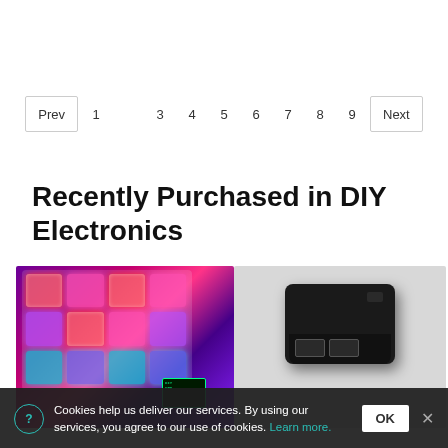[Figure (other): Pagination bar showing Prev button, page numbers 1-9 with page 2 highlighted in teal, and Next button]
Recently Purchased in DIY Electronics
[Figure (photo): Photo of a glowing mechanical keyboard with colorful RGB backlighting in pink, red, purple and blue colors, with a small green display screen in the corner]
[Figure (photo): Photo of a black electronic device/hub with USB ports on a grey background]
Cookies help us deliver our services. By using our services, you agree to our use of cookies. Learn more.